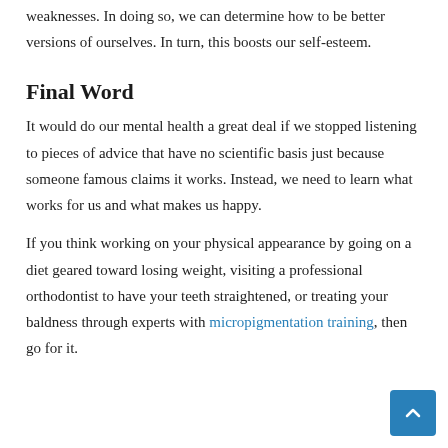weaknesses. In doing so, we can determine how to be better versions of ourselves. In turn, this boosts our self-esteem.
Final Word
It would do our mental health a great deal if we stopped listening to pieces of advice that have no scientific basis just because someone famous claims it works. Instead, we need to learn what works for us and what makes us happy.
If you think working on your physical appearance by going on a diet geared toward losing weight, visiting a professional orthodontist to have your teeth straightened, or treating your baldness through experts with micropigmentation training, then go for it.